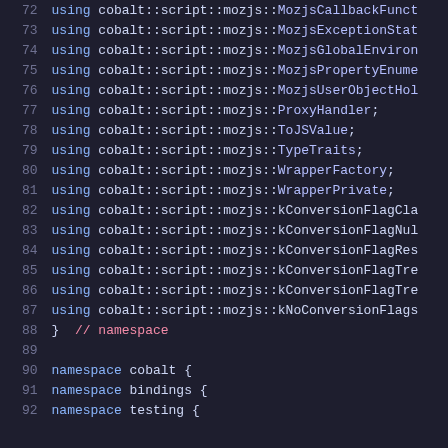Code listing lines 72-92: C++ using declarations for cobalt::script::mozjs namespace types and namespace declarations